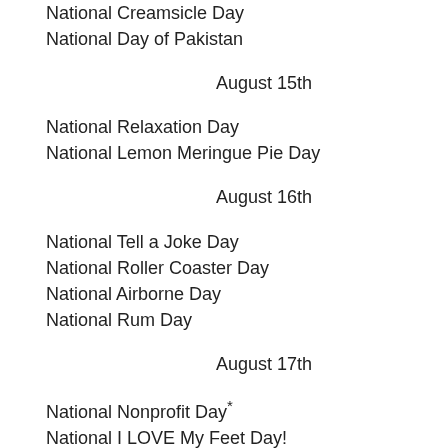National Creamsicle Day
National Day of Pakistan
August 15th
National Relaxation Day
National Lemon Meringue Pie Day
August 16th
National Tell a Joke Day
National Roller Coaster Day
National Airborne Day
National Rum Day
August 17th
National Nonprofit Day*
National I LOVE My Feet Day!
National Thrift Shop Day